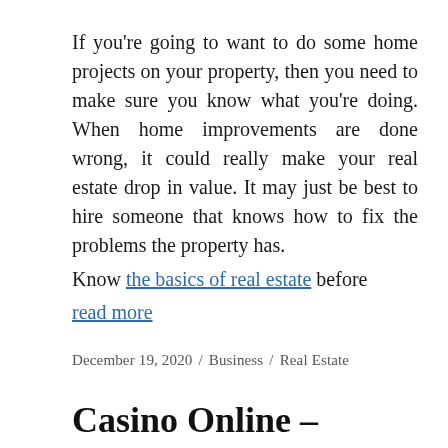If you're going to want to do some home projects on your property, then you need to make sure you know what you're doing. When home improvements are done wrong, it could really make your real estate drop in value. It may just be best to hire someone that knows how to fix the problems the property has.

Know the basics of real estate before
read more
December 19, 2020 / Business / Real Estate
Casino Online – Finest